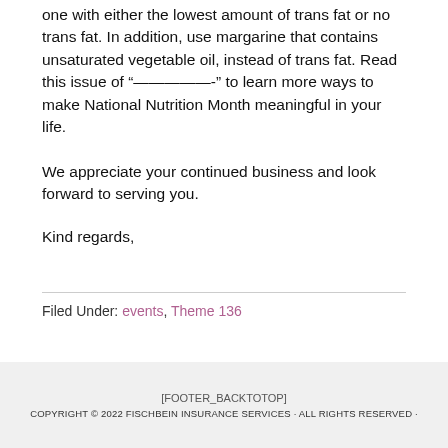one with either the lowest amount of trans fat or no trans fat. In addition, use margarine that contains unsaturated vegetable oil, instead of trans fat. Read this issue of “—————-” to learn more ways to make National Nutrition Month meaningful in your life.
We appreciate your continued business and look forward to serving you.
Kind regards,
Filed Under: events, Theme 136
[FOOTER_BACKTOTOP]
COPYRIGHT © 2022 FISCHBEIN INSURANCE SERVICES · ALL RIGHTS RESERVED ·